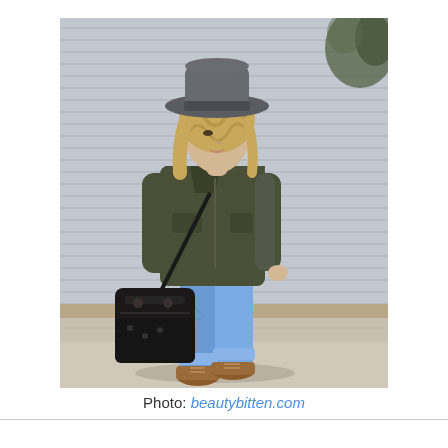[Figure (photo): A woman wearing a dark olive/army green utility jacket over a white top, blue skinny jeans cuffed at the ankles, brown lace-up ankle boots, and a grey wide-brim fedora hat. She is carrying a large black leather handbag and walking on a sidewalk in front of a grey corrugated metal wall with some foliage visible in the upper right corner.]
Photo: beautybitten.com